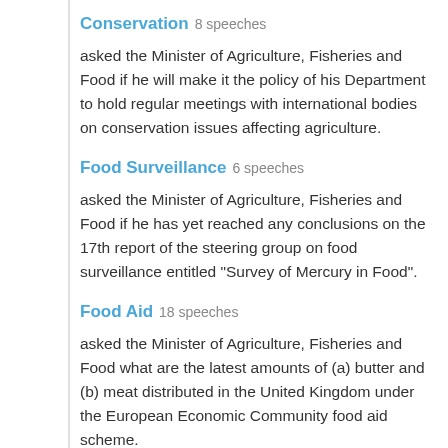Conservation  8 speeches
asked the Minister of Agriculture, Fisheries and Food if he will make it the policy of his Department to hold regular meetings with international bodies on conservation issues affecting agriculture.
Food Surveillance  6 speeches
asked the Minister of Agriculture, Fisheries and Food if he has yet reached any conclusions on the 17th report of the steering group on food surveillance entitled "Survey of Mercury in Food".
Food Aid  18 speeches
asked the Minister of Agriculture, Fisheries and Food what are the latest amounts of (a) butter and (b) meat distributed in the United Kingdom under the European Economic Community food aid scheme.